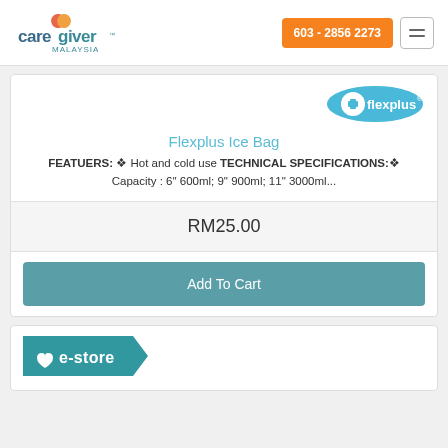caregiver MALAYSIA | 603 - 2856 2273
[Figure (logo): Flexplus logo - blue oval with white plus sign and 'flexplus' text]
Flexplus Ice Bag
FEATUERS: ✦ Hot and cold use TECHNICAL SPECIFICATIONS:✦ Capacity : 6" 600ml; 9" 900ml; 11" 3000ml...
RM25.00
Add To Cart
[Figure (logo): e-store badge logo with heart icon on teal background]